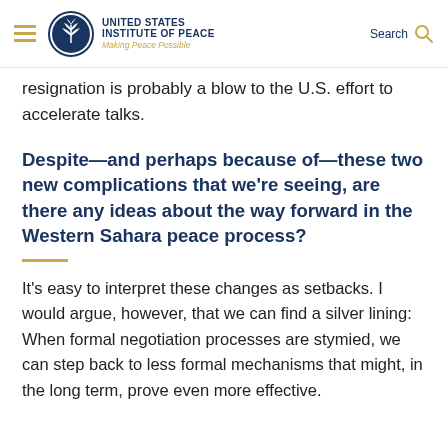United States Institute of Peace — Making Peace Possible
resignation is probably a blow to the U.S. effort to accelerate talks.
Despite—and perhaps because of—these two new complications that we're seeing, are there any ideas about the way forward in the Western Sahara peace process?
It's easy to interpret these changes as setbacks. I would argue, however, that we can find a silver lining: When formal negotiation processes are stymied, we can step back to less formal mechanisms that might, in the long term, prove even more effective.